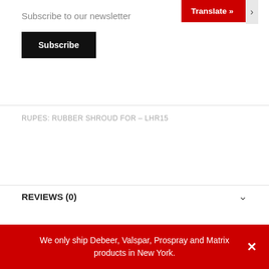Translate »
Subscribe to our newsletter
Subscribe
RUPES: RUBBER SHROUD FOR – LHR15
REVIEWS (0)
RELATED PRODUCTS
We only ship Debeer, Valspar, Prospray and Matrix products in New York.